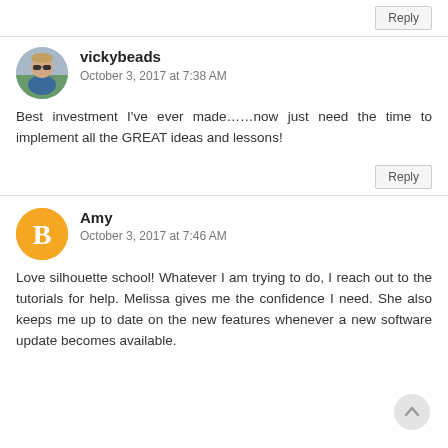Reply
vickybeads
October 3, 2017 at 7:38 AM
Best investment I've ever made……now just need the time to implement all the GREAT ideas and lessons!
Reply
Amy
October 3, 2017 at 7:46 AM
Love silhouette school! Whatever I am trying to do, I reach out to the tutorials for help. Melissa gives me the confidence I need. She also keeps me up to date on the new features whenever a new software update becomes available.